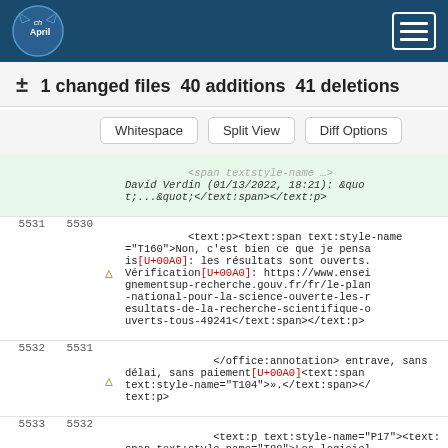[Figure (logo): chApril logo on dark blue header bar with hamburger menu button]
± 1 changed files 40 additions 41 deletions
Whitespace  Split View  Diff Options
| old | new | warn | code |
| --- | --- | --- | --- |
|  |  |  | <span textstyle-name …>David Verdin (01/13/2022, 18:21): &quot;...&quot;</text:span></text:p> |
| 5531 | 5530 | ⚠ | <text:p><text:span text:style-name="T160">Non, c'est bien ce que je pensa is[U+00A0]: les résultats sont ouverts. Vérification[U+00A0]: https://www.enseignementsup-recherche.gouv.fr/fr/le-plan-national-pour-la-science-ouverte-les-resultats-de-la-recherche-scientifique-ouverts-tous-49241</text:span></text:p> |
| 5532 | 5531 | ⚠ | </office:annotation> entrave, sans délai, sans paiement[U+00A0]<text:span text:style-name="T104">».</text:span></text:p> |
| 5533 | 5532 |  | <text:p text:style-name="P17"><text:span text:style-name="T88">Les logiciel |